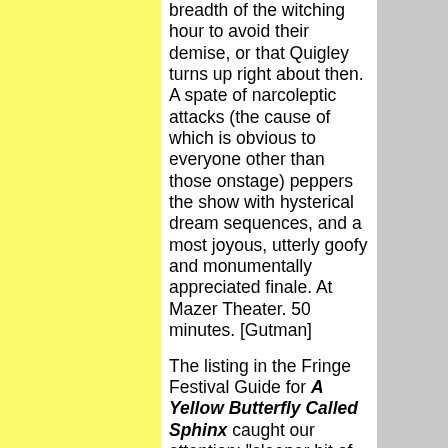breadth of the witching hour to avoid their demise, or that Quigley turns up right about then. A spate of narcoleptic attacks (the cause of which is obvious to everyone other than those onstage) peppers the show with hysterical dream sequences, and a most joyous, utterly goofy and monumentally appreciated finale. At Mazer Theater. 50 minutes. [Gutman]
The listing in the Fringe Festival Guide for A Yellow Butterfly Called Sphinx caught our attention: "sleeper hit of the French festival circuit," it said